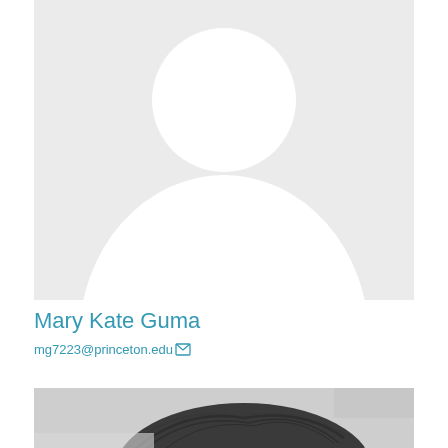[Figure (illustration): Default user avatar placeholder: gray background with white circle head and white rounded body silhouette]
Mary Kate Guma
mg7223@princeton.edu
[Figure (photo): Black and white partial photo showing the top of a person's head with dark hair]